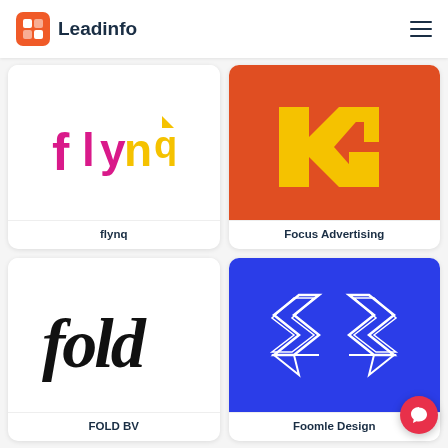[Figure (logo): Leadinfo logo with orange square icon and dark blue text]
[Figure (logo): flynq logo – partial, cut at top, magenta and yellow lettering]
flynq
[Figure (logo): Focus Advertising logo – orange/red background with yellow letter marks]
Focus Advertising
[Figure (logo): fold logo in black cursive script on white background]
FOLD BV
[Figure (logo): Foomle Design logo – blue background with white geometric diamond/arrow shapes]
Foomle Design